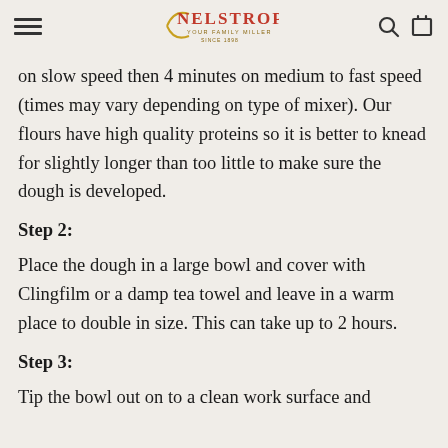NELSTROPS YOUR FAMILY MILLER SINCE 1898
on slow speed then 4 minutes on medium to fast speed (times may vary depending on type of mixer). Our flours have high quality proteins so it is better to knead for slightly longer than too little to make sure the dough is developed.
Step 2:
Place the dough in a large bowl and cover with Clingfilm or a damp tea towel and leave in a warm place to double in size. This can take up to 2 hours.
Step 3:
Tip the bowl out on to a clean work surface and